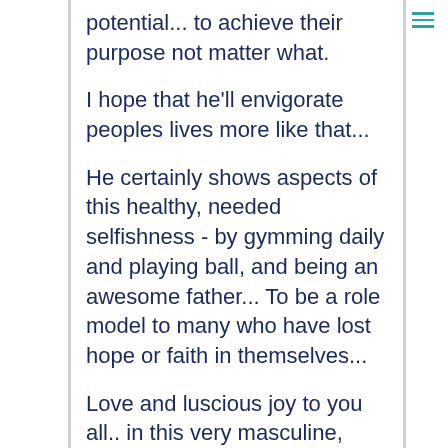potential... to achieve their purpose not matter what.
I hope that he'll envigorate peoples lives more like that...
He certainly shows aspects of this healthy, needed selfishness - by gymming daily and playing ball, and being an awesome father... To be a role model to many who have lost hope or faith in themselves...
Love and luscious joy to you all.. in this very masculine, rational objective place - Randy think we need some flowers and sweetness here too so that it's safe to